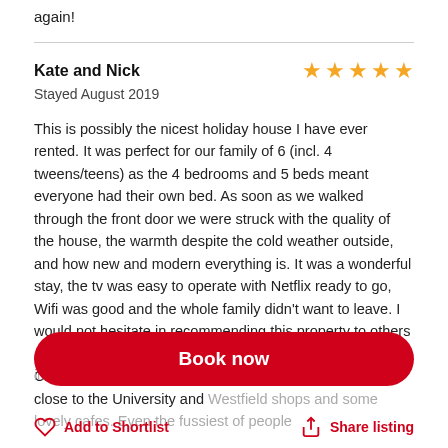again!
Kate and Nick
Stayed August 2019
This is possibly the nicest holiday house I have ever rented. It was perfect for our family of 6 (incl. 4 tweens/teens) as the 4 bedrooms and 5 beds meant everyone had their own bed. As soon as we walked through the front door we were struck with the quality of the house, the warmth despite the cold weather outside, and how new and modern everything is. It was a wonderful stay, the tv was easy to operate with Netflix ready to go, Wifi was good and the whole family didn't want to leave. I would not hesitate in recommending this property to others and wouldn't bother looking elsewhere if I was ever to visit Christchurch. Location was good in the Riccarton area, close to the University and Westfield shops and some lovely cafes. Even the fussiest of people interaction was excellent.
Book now
Add to Shortlist
Share listing